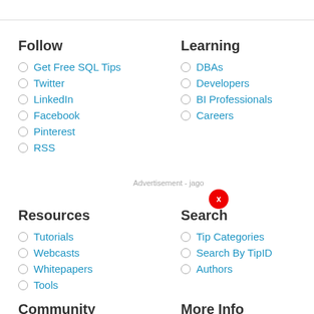Follow
Get Free SQL Tips
Twitter
LinkedIn
Facebook
Pinterest
RSS
Learning
DBAs
Developers
BI Professionals
Careers
Resources
Tutorials
Webcasts
Whitepapers
Tools
Search
Tip Categories
Search By TipID
Authors
Community
More Info